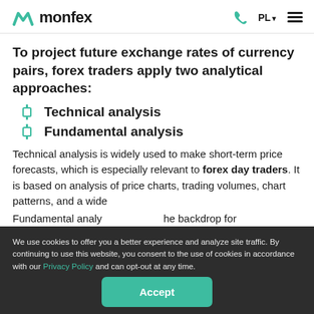monfex | PL
To project future exchange rates of currency pairs, forex traders apply two analytical approaches:
Technical analysis
Fundamental analysis
Technical analysis is widely used to make short-term price forecasts, which is especially relevant to forex day traders. It is based on analysis of price charts, trading volumes, chart patterns, and a wide
Fundamental analy... the backdrop for
We use cookies to offer you a better experience and analyze site traffic. By continuing to use this website, you consent to the use of cookies in accordance with our Privacy Policy and can opt-out at any time.